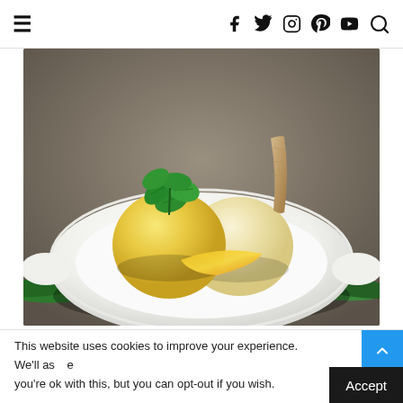≡  f  twitter  instagram  pinterest  youtube  search
[Figure (photo): A white bowl containing two scoops of mango ice cream, garnished with fresh mint leaves, a strip of mango, and a crispy tuile wafer, placed on green pandan leaves on a white plate.]
Loy Fah prides itself on special its high quality
authentic ingredients, attention and best techniques
This website uses cookies to improve your experience. We'll assume you're ok with this, but you can opt-out if you wish.
Accept